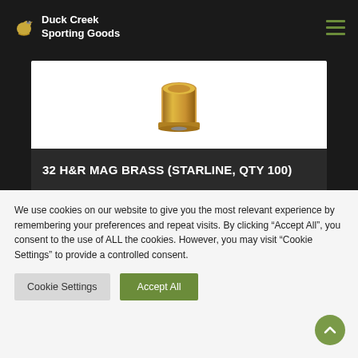Duck Creek Sporting Goods
[Figure (photo): Photo of brass cartridge case (32 H&R Mag) on white background]
32 H&R MAG BRASS (STARLINE, QTY 100)
$23.28
We use cookies on our website to give you the most relevant experience by remembering your preferences and repeat visits. By clicking “Accept All”, you consent to the use of ALL the cookies. However, you may visit “Cookie Settings” to provide a controlled consent.